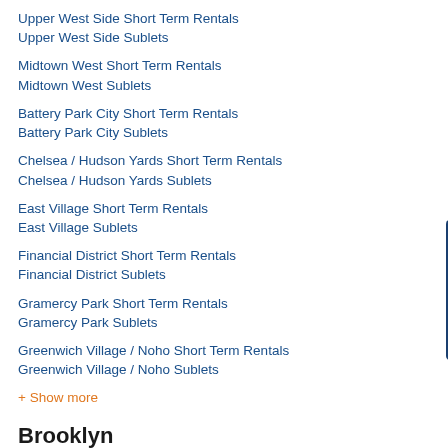Upper West Side Short Term Rentals
Upper West Side Sublets
Midtown West Short Term Rentals
Midtown West Sublets
Battery Park City Short Term Rentals
Battery Park City Sublets
Chelsea / Hudson Yards Short Term Rentals
Chelsea / Hudson Yards Sublets
East Village Short Term Rentals
East Village Sublets
Financial District Short Term Rentals
Financial District Sublets
Gramercy Park Short Term Rentals
Gramercy Park Sublets
Greenwich Village / Noho Short Term Rentals
Greenwich Village / Noho Sublets
+ Show more
Brooklyn
Brooklyn Short Term Rentals